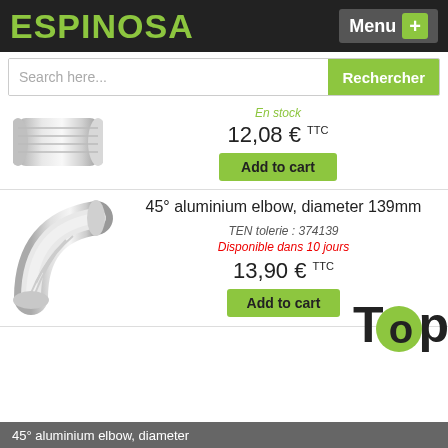ESPINOSA | Menu +
Search here... | Rechercher
En stock
12,08 € TTC
Add to cart
[Figure (photo): Silver aluminium pipe fitting connector, cylindrical shape]
45° aluminium elbow, diameter 139mm
TEN tolerie : 374139
Disponible dans 10 jours
13,90 € TTC
Add to cart
[Figure (photo): Silver aluminium 45 degree elbow fitting, shiny metallic]
Top
45° aluminium elbow, diameter